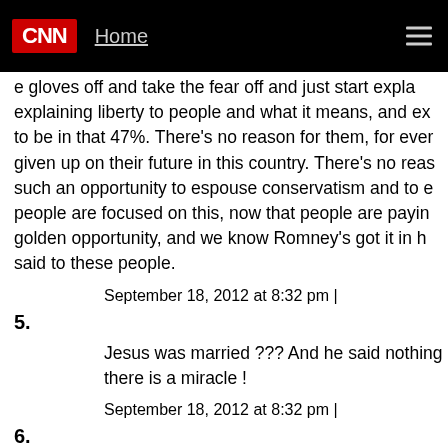CNN | Home
e gloves off and take the fear off and just start explaining liberty to people and what it means, and explaining to be in that 47%. There's no reason for them, for ever given up on their future in this country. There's no reas such an opportunity to espouse conservatism and to e people are focused on this, now that people are payin golden opportunity, and we know Romney's got it in h said to these people.
September 18, 2012 at 8:32 pm |
5.
Jesus was married ??? And he said nothing about his there is a miracle !
September 18, 2012 at 8:32 pm |
6.
LOL A centuries old papyrus? It looks like it was printe Sharpie.